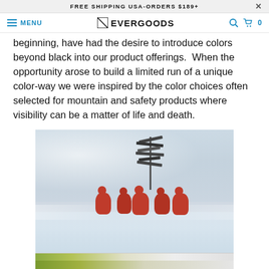FREE SHIPPING USA-ORDERS $189+
EVERGOODS
beginning, have had the desire to introduce colors beyond black into our product offerings.  When the opportunity arose to build a limited run of a unique color-way we were inspired by the color choices often selected for mountain and safety products where visibility can be a matter of life and death.
[Figure (photo): People wearing red suits standing around a directional signpost in blizzard/foggy snow conditions. A partial view of another image with yellow-green foliage is visible at the bottom.]